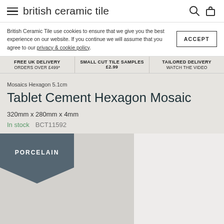british ceramic tile
British Ceramic Tile use cookies to ensure that we give you the best experience on our website. If you continue we will assume that you agree to our privacy & cookie policy.
ACCEPT
FREE UK DELIVERY ORDERS OVER £499*
SMALL CUT TILE SAMPLES £2.99
TAILORED DELIVERY WATCH THE VIDEO
Mosaics Hexagon 5.1cm
Tablet Cement Hexagon Mosaic
320mm x 280mm x 4mm
In stock   BCT11592
[Figure (photo): Product image of Tablet Cement Hexagon Mosaic tile with a PORCELAIN badge on a grey background]